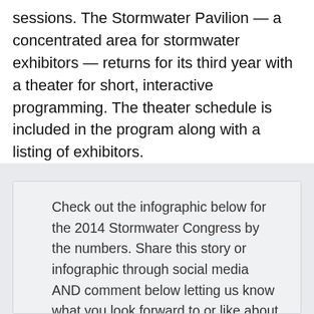sessions. The Stormwater Pavilion — a concentrated area for stormwater exhibitors — returns for its third year with a theater for short, interactive programming. The theater schedule is included in the program along with a listing of exhibitors.
Check out the infographic below for the 2014 Stormwater Congress by the numbers. Share this story or infographic through social media AND comment below letting us know what you look forward to or like about the Stormwater Congress. We will select a random winner to receive a